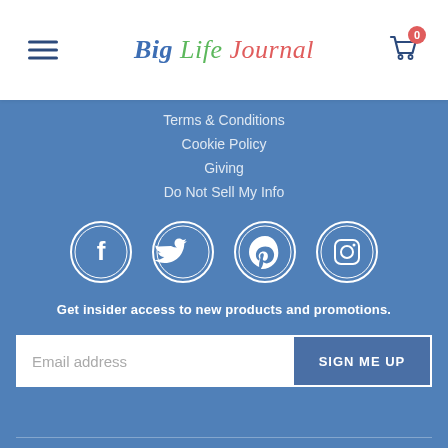Big Life Journal — navigation header with hamburger menu and cart (0 items)
Terms & Conditions
Cookie Policy
Giving
Do Not Sell My Info
[Figure (illustration): Row of four circular social media icons: Facebook, Twitter, Pinterest, Instagram — white outlines on blue background]
Get insider access to new products and promotions.
Email address  SIGN ME UP